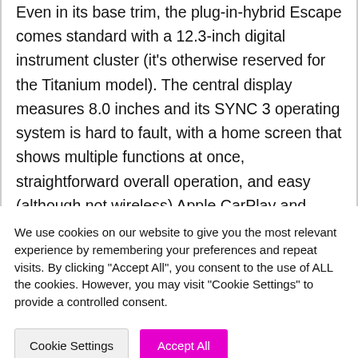Even in its base trim, the plug-in-hybrid Escape comes standard with a 12.3-inch digital instrument cluster (it's otherwise reserved for the Titanium model). The central display measures 8.0 inches and its SYNC 3 operating system is hard to fault, with a home screen that shows multiple functions at once, straightforward overall operation, and easy (although not wireless) Apple CarPlay and Android Auto smartphone pairing. The console
We use cookies on our website to give you the most relevant experience by remembering your preferences and repeat visits. By clicking "Accept All", you consent to the use of ALL the cookies. However, you may visit "Cookie Settings" to provide a controlled consent.